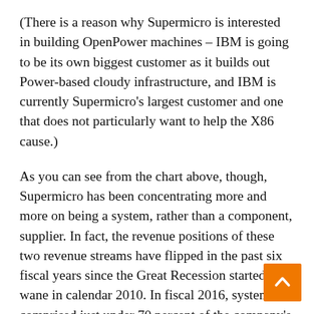(There is a reason why Supermicro is interested in building OpenPower machines – IBM is going to be its own biggest customer as it builds out Power-based cloudy infrastructure, and IBM is currently Supermicro's largest customer and one that does not particularly want to help the X86 cause.)
As you can see from the chart above, though, Supermicro has been concentrating more and more on being a system, rather than a component, supplier. In fact, the revenue positions of these two revenue streams have flipped in the past six fiscal years since the Great Recession started to wane in calendar 2010. In fiscal 2016, systems comprised just under 70 percent of the company's $2.23 billion in revenues, and Supermicro shipped 358,000 systems in total, up 14.4 percent, with revenues for servers alone rising 26.7 percent to $1 billion. Average selling prices of systems have been on